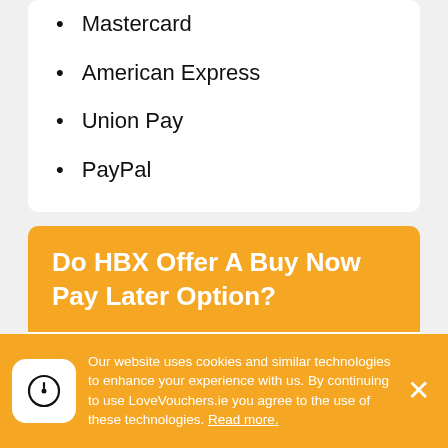Mastercard
American Express
Union Pay
PayPal
Do HBX Offer A Buy Now Pay Later Option?
Based on our research, it appears that HBX does not offer any buy now, pay later options currently. You can contact HBX to see if there have been any updates or changes. You can also visit HBX’s homepage to see if they have
Our website uses cookies and similar technologies to enhance your experience with us. By continuing to use LoveVouchers.ie you agree to the use of these technologies. Read more.